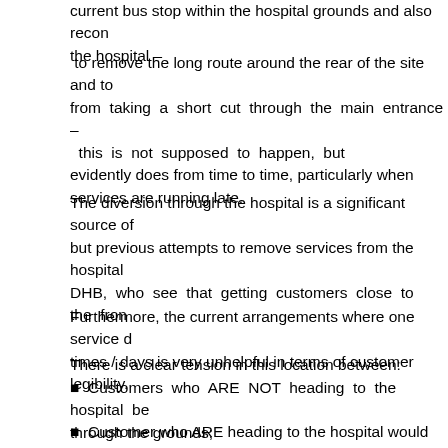current bus stop within the hospital grounds and also recom the hospital –
to remove the long route around the rear of the site and to from taking a short cut through the main entrance – this is not supposed to happen, but evidently does from time to time, particularly when services are running late.
The diversion through the hospital is a significant source of but previous attempts to remove services from the hospital DHB, who see that getting customers close to the fron
Furthermore, the current arrangements where one service d times / days is very unhelpful in terms of customer legibility.
There is a clear tension in this location between:
Customers who ARE NOT heading to the hospital be through the grounds;
Customer who ARE heading to the hospital would be inco for the hospital were out on Green Lane West; and